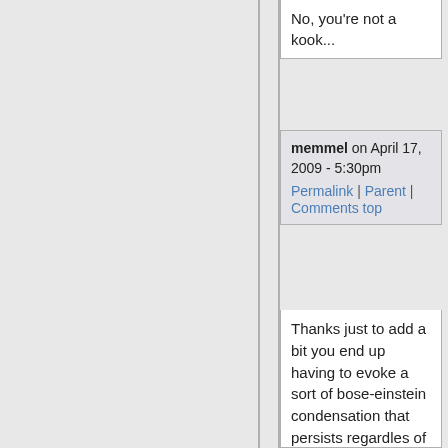No, you're not a kook...
memmel on April 17, 2009 - 5:30pm
Permalink | Parent | Comments top
Thanks just to add a bit you end up having to evoke a sort of bose-einstein condensation that persists regardles of temperature or size of the field. This condensate can well be virtual particles ala Quantum Wave theory creation and annilation operators. But its the carrier of this